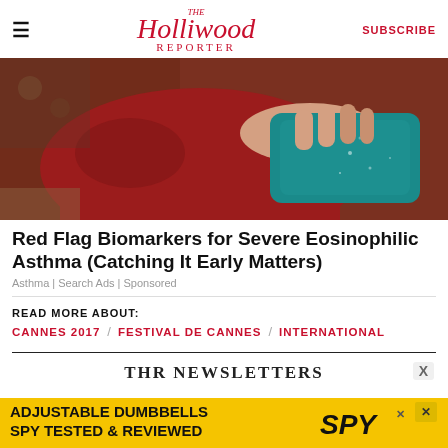The Hollywood Reporter | SUBSCRIBE
[Figure (photo): Woman in red top lying down, holding a teal/blue gel ice pack against her torso]
Red Flag Biomarkers for Severe Eosinophilic Asthma (Catching It Early Matters)
Asthma | Search Ads | Sponsored
READ MORE ABOUT:
CANNES 2017 / FESTIVAL DE CANNES / INTERNATIONAL
THR NEWSLETTERS
[Figure (infographic): Yellow advertisement banner: ADJUSTABLE DUMBBELLS SPY TESTED & REVIEWED with SPY logo]